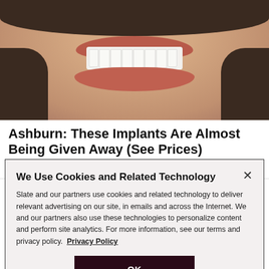[Figure (photo): Photo of a person smiling widely, showing teeth, with dark hair visible at top and sides. Face fills the frame showing lower face and teeth prominently.]
Ashburn: These Implants Are Almost Being Given Away (See Prices)
Dental Implants | Search Ads | Sponsored
We Use Cookies and Related Technology
Slate and our partners use cookies and related technology to deliver relevant advertising on our site, in emails and across the Internet. We and our partners also use these technologies to personalize content and perform site analytics. For more information, see our terms and privacy policy.  Privacy Policy
OK